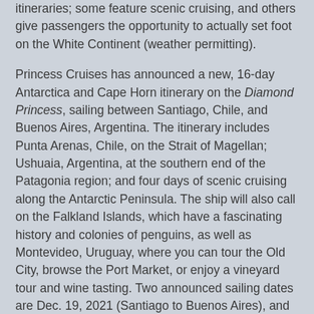itineraries; some feature scenic cruising, and others give passengers the opportunity to actually set foot on the White Continent (weather permitting).
Princess Cruises has announced a new, 16-day Antarctica and Cape Horn itinerary on the Diamond Princess, sailing between Santiago, Chile, and Buenos Aires, Argentina. The itinerary includes Punta Arenas, Chile, on the Strait of Magellan; Ushuaia, Argentina, at the southern end of the Patagonia region; and four days of scenic cruising along the Antarctic Peninsula. The ship will also call on the Falkland Islands, which have a fascinating history and colonies of penguins, as well as Montevideo, Uruguay, where you can tour the Old City, browse the Port Market, or enjoy a vineyard tour and wine tasting. Two announced sailing dates are Dec. 19, 2021 (Santiago to Buenos Aires), and Jan. 4, 2022 (Buenos Aires to Santiago).
Adventures by Disney plans to begin visiting Antarctica this December. This Disney subsidiary (separate from Disney Cruise Line) will charter ice-class vessels to sail to the Antarctic Peninsula. These 11-night vacations begin in Buenos Aires before a flight to Ushuaia, where the ship will be waiting. Adventure guides and naturalists will be on board to provide expert insights into Antarctic history,